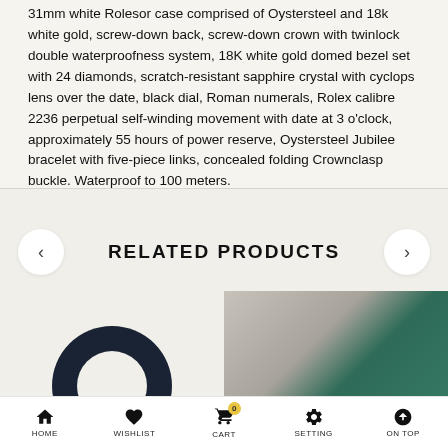31mm white Rolesor case comprised of Oystersteel and 18k white gold, screw-down back, screw-down crown with twinlock double waterproofness system, 18K white gold domed bezel set with 24 diamonds, scratch-resistant sapphire crystal with cyclops lens over the date, black dial, Roman numerals, Rolex calibre 2236 perpetual self-winding movement with date at 3 o'clock, approximately 55 hours of power reserve, Oystersteel Jubilee bracelet with five-piece links, concealed folding Crownclasp buckle. Waterproof to 100 meters.
RELATED PRODUCTS
[Figure (logo): Dark circular logo/icon with a ring shape]
[Figure (photo): Product photo showing teal/green item on beige background]
HOME   WISHLIST   CART   SETTING   ON TOP